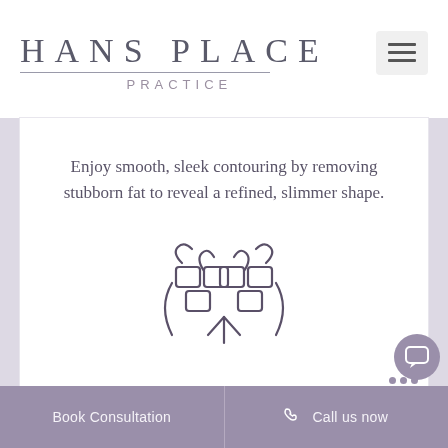HANS PLACE PRACTICE
Enjoy smooth, sleek contouring by removing stubborn fat to reveal a refined, slimmer shape.
[Figure (illustration): Icon of a body contouring device/applicator with curved paddle shapes and small rectangular pads arranged symmetrically, with a Y-shaped connector below]
Vaser Hi-Def
Book Consultation | Call us now